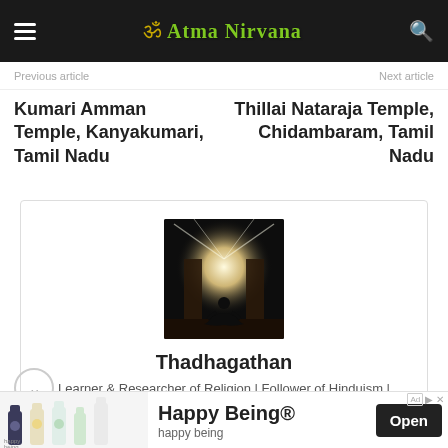Atma Nirvana
Previous article | Next article
Kumari Amman Temple, Kanyakumari, Tamil Nadu
Thillai Nataraja Temple, Chidambaram, Tamil Nadu
[Figure (photo): Silhouette of a person in meditation pose inside a temple gateway with bright light emanating from behind]
Thadhagathan
Learner & Researcher of Religion | Follower of Hinduism | Student of Spiritual Psychology
[Figure (infographic): Advertisement banner for Happy Being brand showing bottles and Open button]